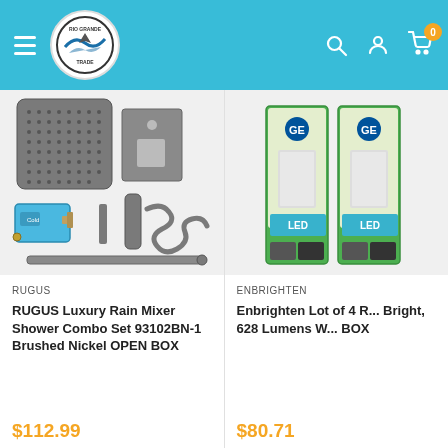Rio Grande Trade — navigation header with hamburger menu, logo, search, account, and cart icons
[Figure (photo): RUGUS Luxury Rain Mixer Shower Combo Set components including rain shower head, mounting plate, handheld shower, hose, valve body, and slide bar — brushed nickel finish]
RUGUS
RUGUS Luxury Rain Mixer Shower Combo Set 93102BN-1 Brushed Nickel OPEN BOX
$112.99
[Figure (photo): Two GE Enbrighten LED light bar packages in green and black packaging]
ENBRIGHTEN
Enbrighten Lot of 4 R... Bright, 628 Lumens W... BOX
$80.71